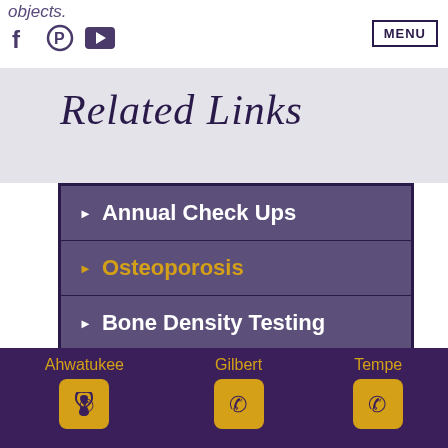objects.
Related Links
Annual Check Ups
Osteoporosis
Bone Density Testing
Urinary Incontinence
Ahwatukee | Gilbert | Tempe